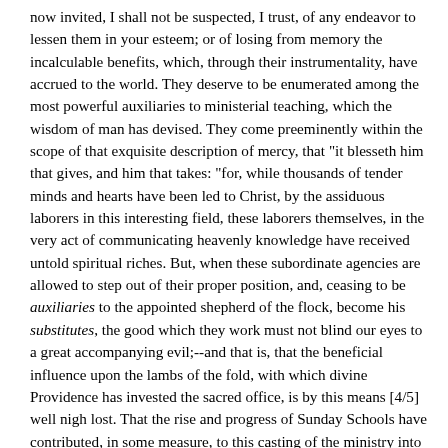now invited, I shall not be suspected, I trust, of any endeavor to lessen them in your esteem; or of losing from memory the incalculable benefits, which, through their instrumentality, have accrued to the world. They deserve to be enumerated among the most powerful auxiliaries to ministerial teaching, which the wisdom of man has devised. They come preeminently within the scope of that exquisite description of mercy, that "it blesseth him that gives, and him that takes: "for, while thousands of tender minds and hearts have been led to Christ, by the assiduous laborers in this interesting field, these laborers themselves, in the very act of communicating heavenly knowledge have received untold spiritual riches. But, when these subordinate agencies are allowed to step out of their proper position, and, ceasing to be auxiliaries to the appointed shepherd of the flock, become his substitutes, the good which they work must not blind our eyes to a great accompanying evil;--and that is, that the beneficial influence upon the lambs of the fold, with which divine Providence has invested the sacred office, is by this means [4/5] well nigh lost. That the rise and progress of Sunday Schools have contributed, in some measure, to this casting of the ministry into the shade, so far as the children of our